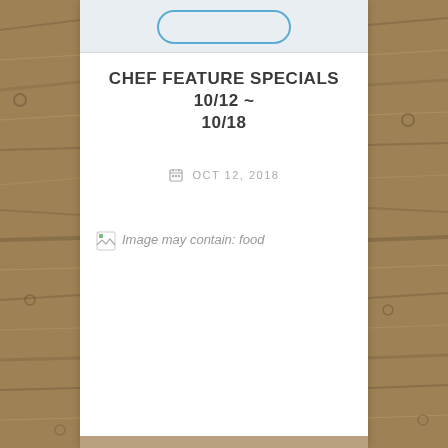CHEF FEATURE SPECIALS 10/12 ~ 10/18
OCT 12, 2018
[Figure (photo): Broken image placeholder with alt text 'Image may contain: food']